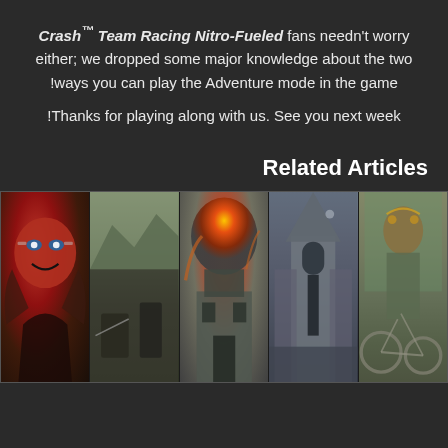Crash™ Team Racing Nitro-Fueled fans needn't worry either; we dropped some major knowledge about the two ways you can play the Adventure mode in the game! Thanks for playing along with us. See you next week!
Related Articles
[Figure (photo): A horizontal strip of five gaming screenshots showing various game scenes including a demon mask character, military combat scenes, an explosion at a building, a gothic church exterior, and a decorated figure with a bicycle.]